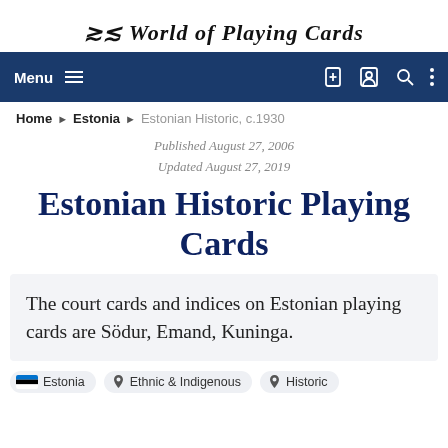World of Playing Cards — Menu navigation bar
Home › Estonia › Estonian Historic, c.1930
Published August 27, 2006
Updated August 27, 2019
Estonian Historic Playing Cards
The court cards and indices on Estonian playing cards are Södur, Emand, Kuninga.
Estonia
Ethnic & Indigenous
Historic